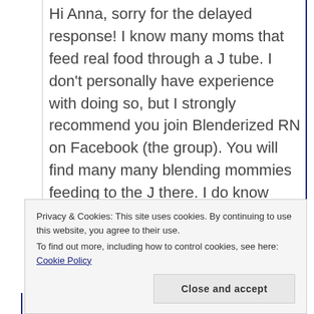Hi Anna, sorry for the delayed response! I know many moms that feed real food through a J tube. I don't personally have experience with doing so, but I strongly recommend you join Blenderized RN on Facebook (the group). You will find many many blending mommies feeding to the J there. I do know some children that required a J for formula, but tolerated food
Privacy & Cookies: This site uses cookies. By continuing to use this website, you agree to their use.
To find out more, including how to control cookies, see here: Cookie Policy
Close and accept